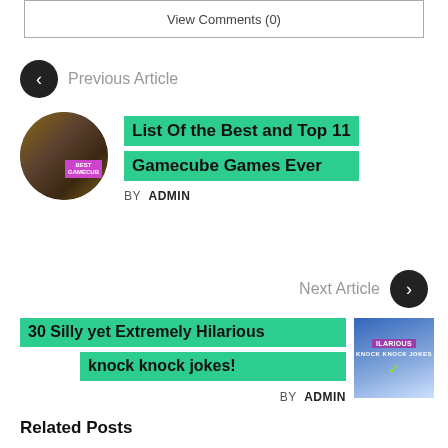View Comments (0)
Previous Article
[Figure (photo): Circular thumbnail of Gamecube games with 'BEST GAMECUBE' label]
List Of the Best and Top 11 Gamecube Games Ever
BY ADMIN
Next Article
30 Silly yet Extremely Hilarious knock knock jokes!
[Figure (photo): Thumbnail showing 'HILARIOUS KNOCK KNOCK JOKES' text on a colorful background]
BY ADMIN
Related Posts